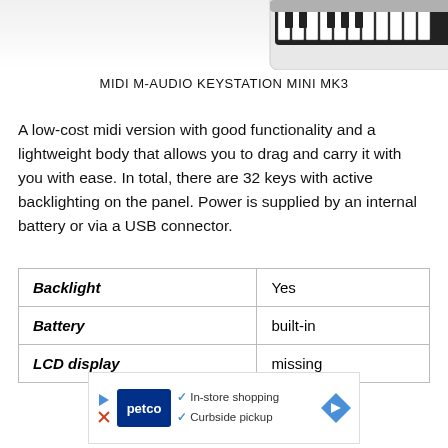[Figure (photo): Partial view of MIDI M-Audio Keystation Mini MK3 keyboard controller, cropped at top of page]
MIDI M-AUDIO KEYSTATION MINI MK3
A low-cost midi version with good functionality and a lightweight body that allows you to drag and carry it with you with ease. In total, there are 32 keys with active backlighting on the panel. Power is supplied by an internal battery or via a USB connector.
| Backlight | Yes |
| Battery | built-in |
| LCD display | missing |
[Figure (screenshot): Petco advertisement banner showing in-store shopping and curbside pickup options with Petco logo and navigation arrow icon]